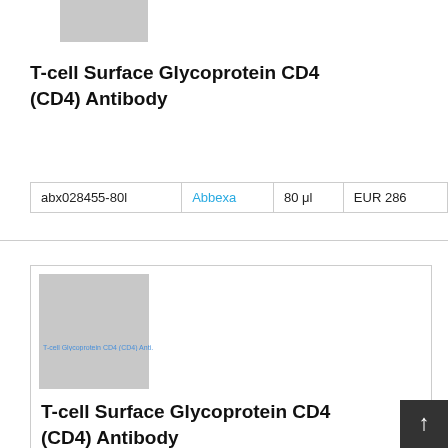[Figure (photo): Gray placeholder image for product thumbnail (top card)]
T-cell Surface Glycoprotein CD4 (CD4) Antibody
| ID | Supplier | Volume | Price |
| --- | --- | --- | --- |
| abx028455-80l | Abbexa | 80 μl | EUR 286 |
[Figure (photo): Gray placeholder image for product thumbnail (bottom card) with label text: T-cell Glycoprotein CD4 (CD4) Anti...]
T-cell Surface Glycoprotein CD4 (CD4) Antibody